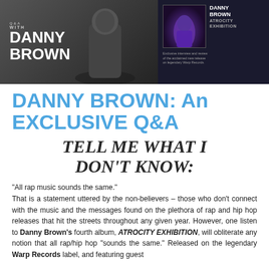[Figure (photo): Banner image with Danny Brown Q&A branding, featuring a dark background with a silhouette figure, show title 'WITH DANNY BROWN' on the left, and an album cover for ATROCITY EXHIBITION on the right with purple/dark tones]
DANNY BROWN: An EXCLUSIVE Q&A
TELL ME WHAT I DON'T KNOW:
“All rap music sounds the same.” That is a statement uttered by the non-believers – those who don’t connect with the music and the messages found on the plethora of rap and hip hop releases that hit the streets throughout any given year. However, one listen to Danny Brown’s fourth album, ATROCITY EXHIBITION, will obliterate any notion that all rap/hip hop “sounds the same.” Released on the legendary Warp Records label, and featuring guest